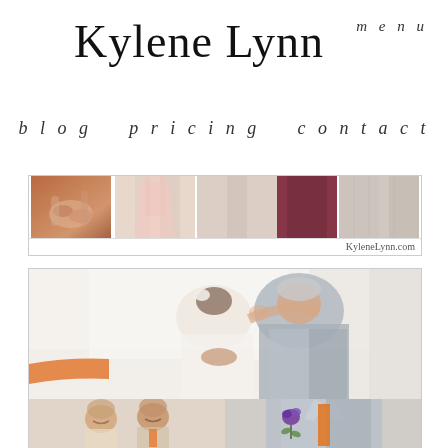Kylene Lynn
menu
blog   pricing   contact
[Figure (photo): Horizontal strip of wedding preparation photos: close-up of hands exchanging rings, pink bridesmaid dress, draped fabric, dark purple/maroon fabric detail, white curtain/gown detail. Watermark reads KyleneLynn.com]
[Figure (photo): Three wedding photos: large main photo of bride and older man (father) hugging and kissing, bride in white dress with hair up; bottom left photo of bride and man smiling together; bottom right photo of grey suit jacket with orange tie and purple flower boutonniere]